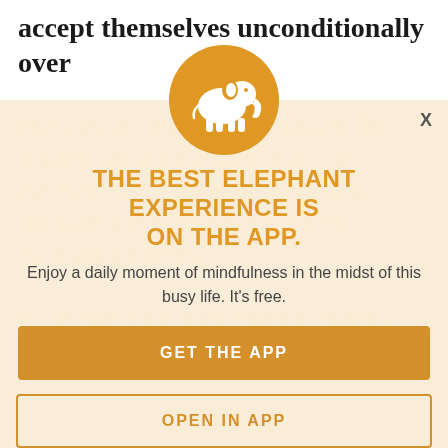...that a man was also person learning to accept themselves unconditionally over
[Figure (infographic): App promotion modal overlay with orange elephant logo circle, headline, subtitle, and two call-to-action buttons on a faded beige background]
THE BEST ELEPHANT EXPERIENCE IS ON THE APP.
Enjoy a daily moment of mindfulness in the midst of this busy life. It's free.
GET THE APP
OPEN IN APP